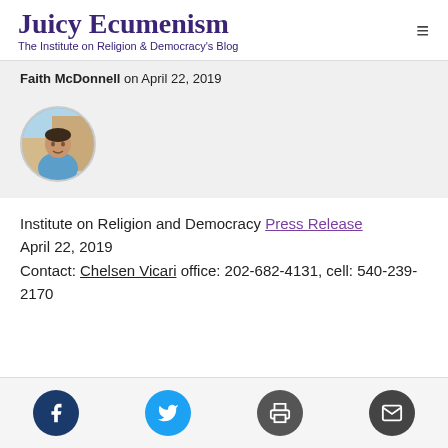Juicy Ecumenism
The Institute on Religion & Democracy's Blog
Faith McDonnell on April 22, 2019
[Figure (photo): Circular avatar photo of a person wearing a blue shirt outdoors]
Institute on Religion and Democracy Press Release
April 22, 2019
Contact: Chelsen Vicari office: 202-682-4131, cell: 540-239-2170
[Figure (infographic): Social media sharing buttons: Facebook, Twitter, Print, Email]